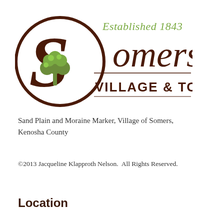[Figure (logo): Somers Village & Town logo with tree emblem and text 'Established 1843 Somers VILLAGE & TOWN']
Sand Plain and Moraine Marker, Village of Somers, Kenosha County
©2013 Jacqueline Klapproth Nelson.  All Rights Reserved.
Location